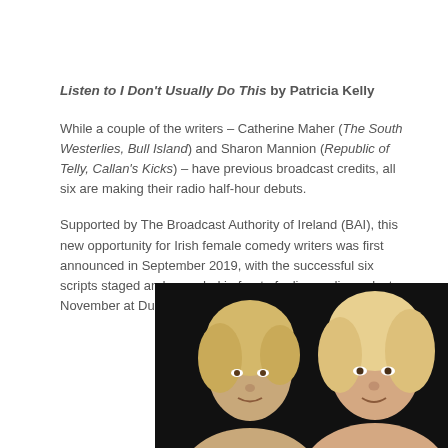Listen to I Don't Usually Do This by Patricia Kelly
While a couple of the writers – Catherine Maher (The South Westerlies, Bull Island) and Sharon Mannion (Republic of Telly, Callan's Kicks) – have previous broadcast credits, all six are making their radio half-hour debuts.
Supported by The Broadcast Authority of Ireland (BAI), this new opportunity for Irish female comedy writers was first announced in September 2019, with the successful six scripts staged and recorded in front of a live audience last November at Dublin's Project Arts Centre.
[Figure (photo): Two blonde women photographed against a dark/black background, cropped to show their faces and upper bodies.]